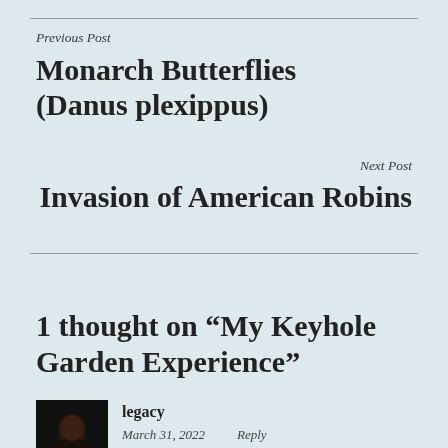Previous Post
Monarch Butterflies (Danus plexippus)
Next Post
Invasion of American Robins
1 thought on “My Keyhole Garden Experience”
legacy
March 31, 2022    Reply